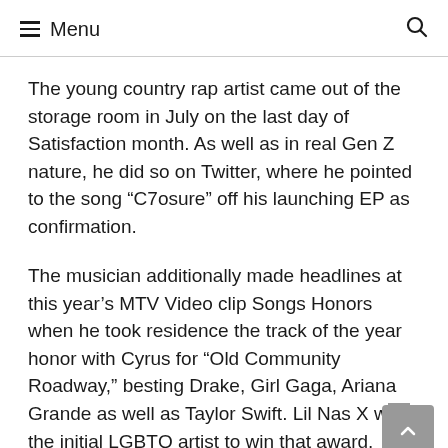Menu
The young country rap artist came out of the storage room in July on the last day of Satisfaction month. As well as in real Gen Z nature, he did so on Twitter, where he pointed to the song “C7osure” off his launching EP as confirmation.
The musician additionally made headlines at this year’s MTV Video clip Songs Honors when he took residence the track of the year honor with Cyrus for “Old Community Roadway,” besting Drake, Girl Gaga, Ariana Grande as well as Taylor Swift. Lil Nas X was the initial LGBTQ artist to win that award.